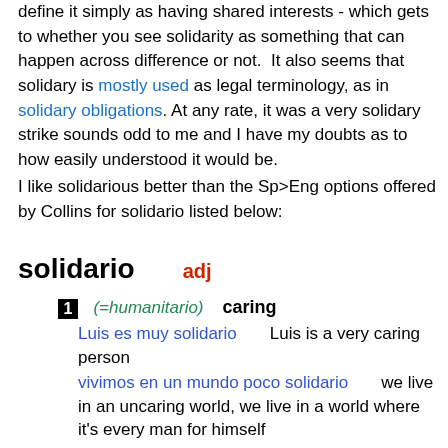define it simply as having shared interests - which gets to whether you see solidarity as something that can happen across difference or not.  It also seems that solidary is mostly used as legal terminology, as in solidary obligations. At any rate, it was a very solidary strike sounds odd to me and I have my doubts as to how easily understood it would be.
I like solidarious better than the Sp>Eng options offered by Collins for solidario listed below:
solidario   adj
1 (=humanitario) caring
Luis es muy solidario    Luis is a very caring person
vivimos en un mundo poco solidario    we live in an uncaring world, we live in a world where it's every man for himself
un acto solidario    an act of solidarity
→ solidario con algo/algn
se ha mostrado muy solidario con nuestra causa    he has been very sympathetic to our